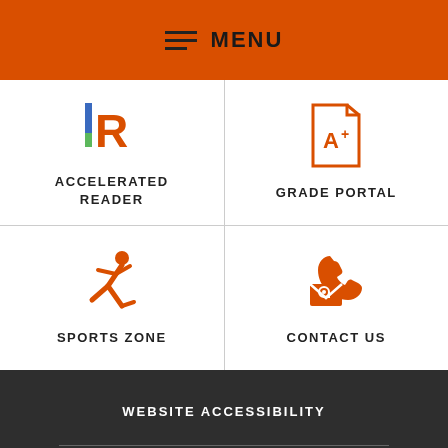MENU
[Figure (logo): Accelerated Reader R logo icon]
ACCELERATED READER
[Figure (illustration): Grade portal A+ document icon in orange]
GRADE PORTAL
[Figure (illustration): Sports zone running person icon in orange]
SPORTS ZONE
[Figure (illustration): Contact us phone and email icon in orange]
CONTACT US
WEBSITE ACCESSIBILITY
CONTACT US